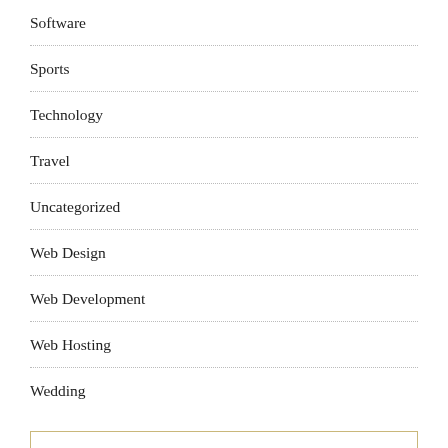Software
Sports
Technology
Travel
Uncategorized
Web Design
Web Development
Web Hosting
Wedding
META